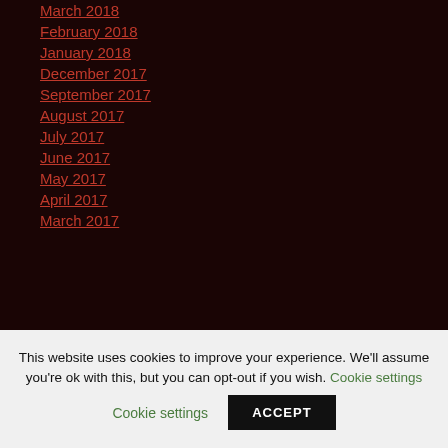March 2018
February 2018
January 2018
December 2017
September 2017
August 2017
July 2017
June 2017
May 2017
April 2017
March 2017
This website uses cookies to improve your experience. We'll assume you're ok with this, but you can opt-out if you wish. Cookie settings ACCEPT